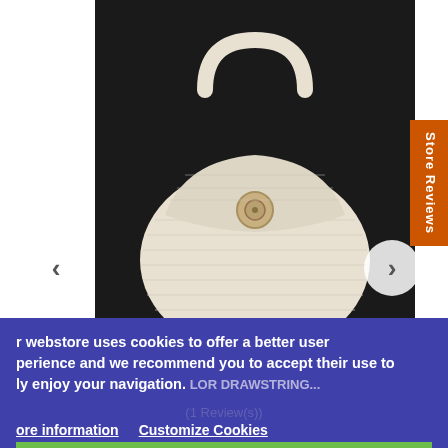[Figure (photo): White/cream knitted handbag with button closure and single handle, photographed against a dark background. Navigation arrows on left and right sides.]
Store Reviews
Gift Cards
r webstore uses cookies to offer a better user perience and we recommend you to accept their use to ly enjoy your navigation.
LOR DRAWSTRING...
(1 Review(s))
ore information   Customize Cookies
REJECT ALL
$24.84
Chat
I ACCEPT